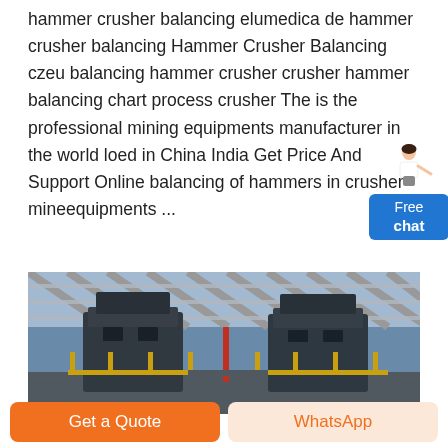hammer crusher balancing elumedica de hammer crusher balancing Hammer Crusher Balancing czeu balancing hammer crusher crusher hammer balancing chart process crusher The is the professional mining equipments manufacturer in the world loed in China India Get Price And Support Online balancing of hammers in crusher mineequipments ...
[Figure (photo): Industrial hammer crusher machinery inside a large warehouse/facility with a corrugated metal roof structure visible overhead. Large dark grey crushing equipment on an elevated platform with yellow safety railings.]
Get a Quote
WhatsApp